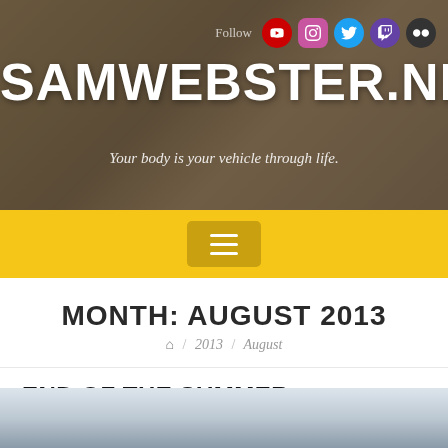SAMWEBSTER.NET
Your body is your vehicle through life.
[Figure (screenshot): Website navigation bar with yellow background and hamburger menu button]
MONTH: AUGUST 2013
/ 2013 / August
END OF THE SUMMER
Posted on August 31, 2013 by Sam
[Figure (photo): Partial photo visible at bottom of page, sky/outdoor scene]